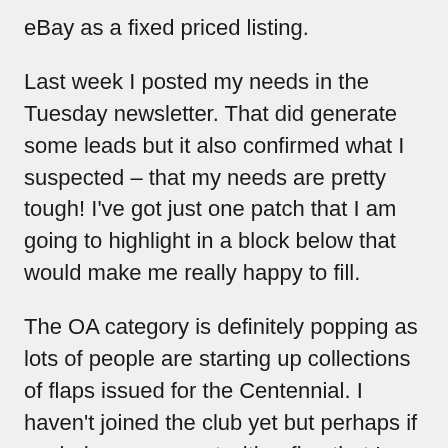eBay as a fixed priced listing.
Last week I posted my needs in the Tuesday newsletter. That did generate some leads but it also confirmed what I suspected – that my needs are pretty tough! I've got just one patch that I am going to highlight in a block below that would make me really happy to fill.
The OA category is definitely popping as lots of people are starting up collections of flaps issued for the Centennial. I haven't joined the club yet but perhaps if my lodge comes out with a flap that I can then trade that will change.
When I sat down with Russell Smart in January he told me that sometimes the Asst. Adviser patches are hard to find because back in the late 30s and 40s there may have only been one adult leading a patrol within a troop of